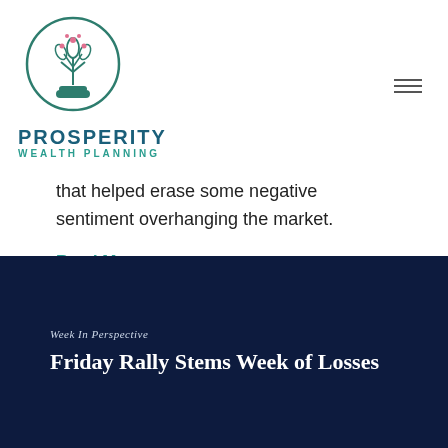[Figure (logo): Prosperity Wealth Planning logo — circular tree/leaf emblem above the company name in teal and dark blue]
that helped erase some negative sentiment overhanging the market.
Read More
[Figure (screenshot): Dark navy card image with headline text: 'Week In Perspective' subtitle and 'Friday Rally Stems Week of Losses' title in white serif font]